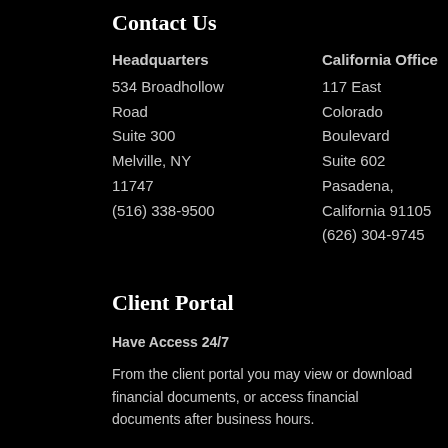Contact Us
| Headquarters | California Office |
| --- | --- |
| 534 Broadhollow Road | 117 East Colorado Boulevard |
| Suite 300 | Suite 602 |
| Melville, NY 11747 | Pasadena, California 91105 |
| (516) 338-9500 | (626) 304-9745 |
Client Portal
Have Access 24/7
From the client portal you may view or download financial documents, or access financial documents after business hours.